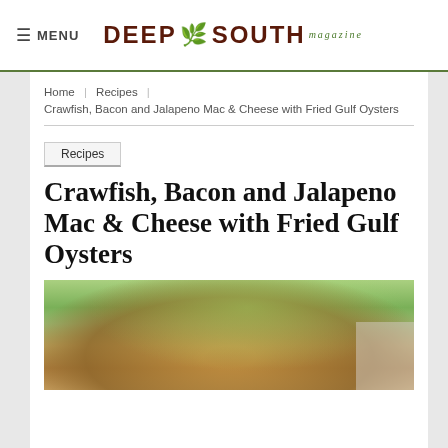MENU | DEEP SOUTH magazine
Home | Recipes | Crawfish, Bacon and Jalapeno Mac & Cheese with Fried Gulf Oysters
Recipes
Crawfish, Bacon and Jalapeno Mac & Cheese with Fried Gulf Oysters
[Figure (photo): Food photo showing fried gulf oysters plated with garnish, outdoor blurred green foliage background]